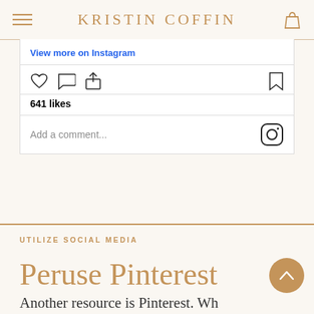KRISTIN COFFIN
[Figure (screenshot): Instagram embed showing 'View more on Instagram' link, action icons (heart, comment, share, bookmark), 641 likes, and Add a comment field with Instagram logo]
UTILIZE SOCIAL MEDIA
Peruse Pinterest
Another resource is Pinterest. Wh...